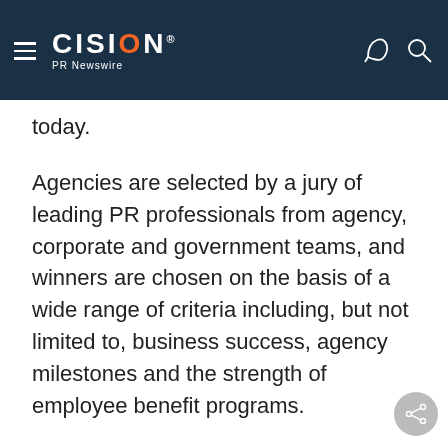CISION PR Newswire
today.
Agencies are selected by a jury of leading PR professionals from agency, corporate and government teams, and winners are chosen on the basis of a wide range of criteria including, but not limited to, business success, agency milestones and the strength of employee benefit programs.
About kwittken + company
kwittken + company (KCO), a partner company of kirshenbaum bond senecal + partners and a member of The MDC Partners network, is an elite, multi-specialist public relations and marketing agency that